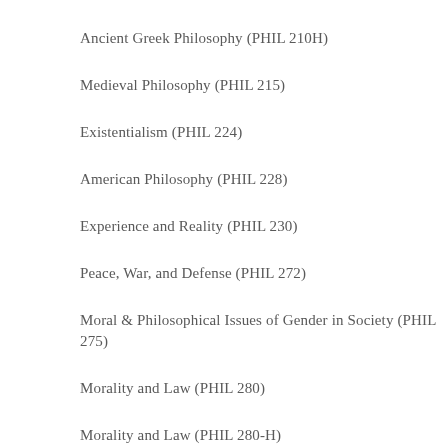Ancient Greek Philosophy (PHIL 210H)
Medieval Philosophy (PHIL 215)
Existentialism (PHIL 224)
American Philosophy (PHIL 228)
Experience and Reality (PHIL 230)
Peace, War, and Defense (PHIL 272)
Moral & Philosophical Issues of Gender in Society (PHIL 275)
Morality and Law (PHIL 280)
Morality and Law (PHIL 280-H)
Metaphysics (PHIL 330)
History Topics: The Presocratics (PHIL 310)